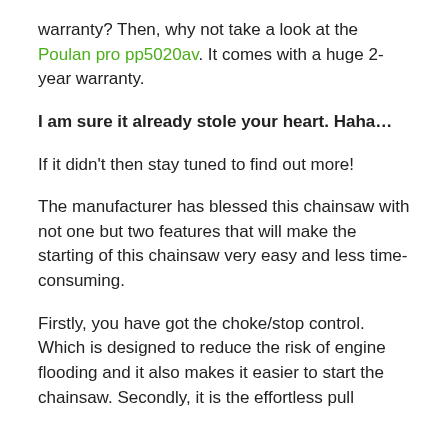warranty? Then, why not take a look at the Poulan pro pp5020av. It comes with a huge 2-year warranty.
I am sure it already stole your heart. Haha…
If it didn't then stay tuned to find out more!
The manufacturer has blessed this chainsaw with not one but two features that will make the starting of this chainsaw very easy and less time-consuming.
Firstly, you have got the choke/stop control. Which is designed to reduce the risk of engine flooding and it also makes it easier to start the chainsaw. Secondly, it is the effortless pull